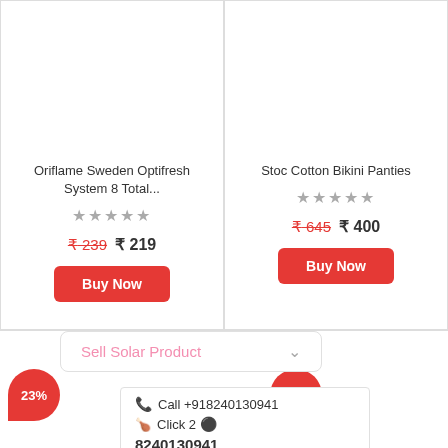Oriflame Sweden Optifresh System 8 Total...
★★★★★
₹239  ₹ 219
Buy Now
Stoc Cotton Bikini Panties
★★★★★
₹645  ₹ 400
Buy Now
Sell Solar Product ▾
23%
31%
📞 Call +918240130941
🤙 Click 2 💚
8240130941